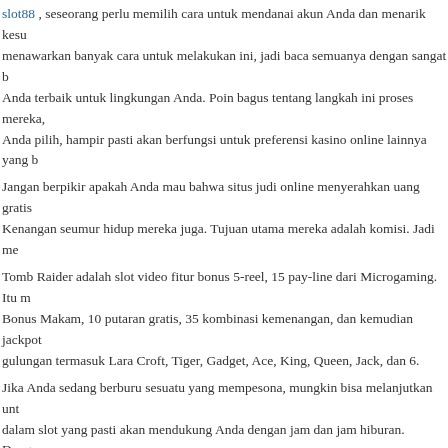slot88 , seseorang perlu memilih cara untuk mendanai akun Anda dan menarik kesu... menawarkan banyak cara untuk melakukan ini, jadi baca semuanya dengan sangat b... Anda terbaik untuk lingkungan Anda. Poin bagus tentang langkah ini proses mereka,... Anda pilih, hampir pasti akan berfungsi untuk preferensi kasino online lainnya yang b...
Jangan berpikir apakah Anda mau bahwa situs judi online menyerahkan uang gratis... Kenangan seumur hidup mereka juga. Tujuan utama mereka adalah komisi. Jadi me...
Tomb Raider adalah slot video fitur bonus 5-reel, 15 pay-line dari Microgaming. Itu m... Bonus Makam, 10 putaran gratis, 35 kombinasi kemenangan, dan kemudian jackpot... gulungan termasuk Lara Croft, Tiger, Gadget, Ace, King, Queen, Jack, dan 6.
Jika Anda sedang berburu sesuatu yang mempesona, mungkin bisa melanjutkan unt... dalam slot yang pasti akan mendukung Anda dengan jam dan jam hiburan. Dengan p... diperkenalkan dengan berbagai permainan yang dapat membantu Anda menikmati s... pun dari pihak Anda. Lantas mengapa? Ini adalah waktu yang tepat untuk bepergian... yang besar! Yang Terbaik.!
FILED UNDER: UNCATEGORIZED
Research Casino Craps How-To Websites Much More A...
JULY 27, 2022 BY WHEELER